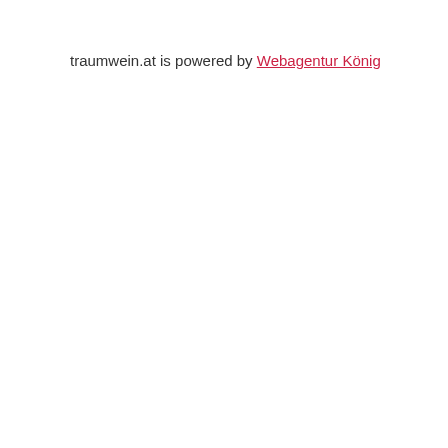traumwein.at is powered by Webagentur König